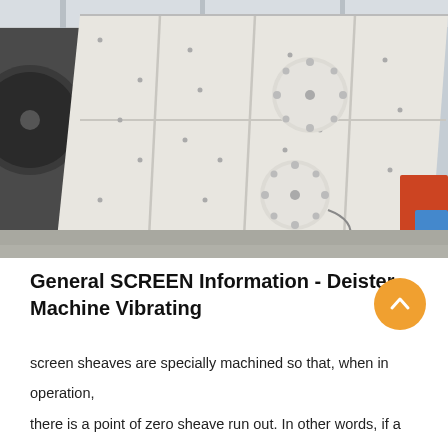[Figure (photo): Industrial photograph of a large white vibrating screen machine leaning at an angle inside a factory/warehouse building. Two circular eccentric weights visible on the side panel. Factory interior with concrete floor and corrugated metal roof visible in background.]
General SCREEN Information - Deister Machine Vibrating
screen sheaves are specially machined so that, when in operation, there is a point of zero sheave run out. In other words, if a line were drawn from the center of the driven sheave through the center of t...